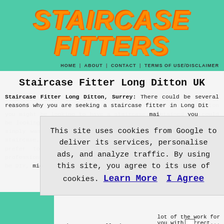STAIRCASE FITTERS
HOME | ABOUT | CONTACT | TERMS OF USE/DISCLAIMER
Staircase Fitter Long Ditton UK
Staircase Fitter Long Ditton, Surrey: There could be several reasons why you are seeking a staircase fitter in Long Ditton. You might be looking to have a staircase maintained, you could be looking to have a new staircase fitted today, or maybe you simply want to have some improvements made to your existing staircase. For certain staircase related work, you might prefer to feel confident that the person doing it is professional, because while some staircase improvements might be DIY, others might be more complex, and the odds...
This site uses cookies from Google to deliver its services, personalise ads, and analyze traffic. By using this site, you agree to its use of cookies. Learn More   I Agree
lot of the work for you with correct...
Staircase Installation